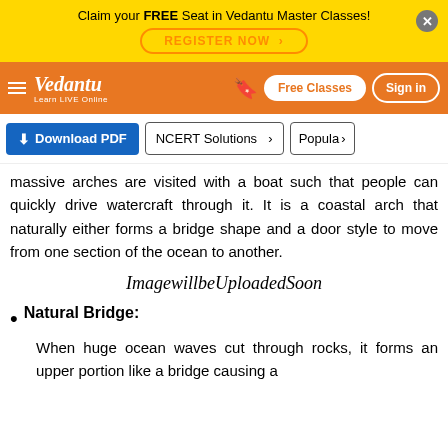Claim your FREE Seat in Vedantu Master Classes! REGISTER NOW
Vedantu — Learn LIVE Online | Free Classes | Sign in
[Figure (screenshot): Toolbar with Download PDF button, NCERT Solutions button, and Popular button]
massive arches are visited with a boat such that people can quickly drive watercraft through it. It is a coastal arch that naturally either forms a bridge shape and a door style to move from one section of the ocean to another.
ImagewillbeUploadedSoon
Natural Bridge: When huge ocean waves cut through rocks, it forms an upper portion like a bridge causing a